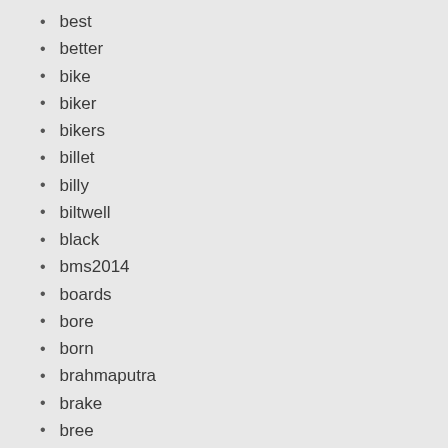best
better
bike
biker
bikers
billet
billy
biltwell
black
bms2014
boards
bore
born
brahmaputra
brake
bree
bring
bumpus
burly
cable